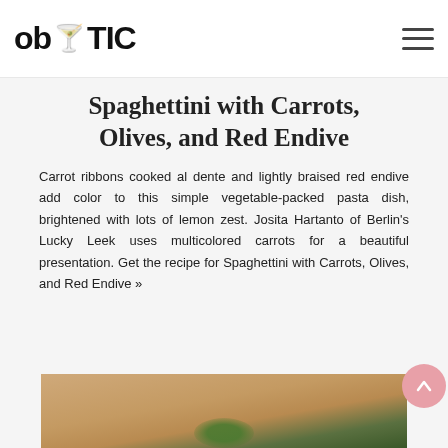ob TIC
Spaghettini with Carrots, Olives, and Red Endive
Carrot ribbons cooked al dente and lightly braised red endive add color to this simple vegetable-packed pasta dish, brightened with lots of lemon zest. Josita Hartanto of Berlin’s Lucky Leek uses multicolored carrots for a beautiful presentation. Get the recipe for Spaghettini with Carrots, Olives, and Red Endive »
[Figure (photo): Bottom portion of a food photo showing a pasta dish with vegetables on a light background, with green herb garnish visible at the bottom edge.]